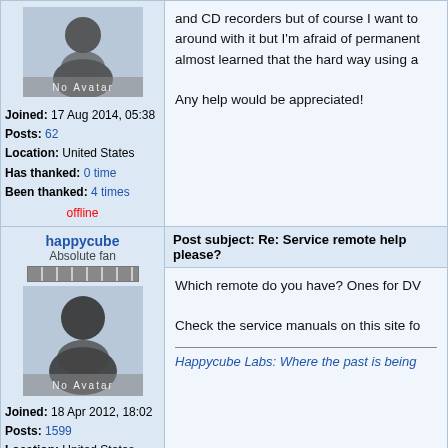[Figure (illustration): No Avatar placeholder image, dark grey avatar icon on light grey background with 'No Avatar' text]
Joined: 17 Aug 2014, 05:38
Posts: 62
Location: United States
Has thanked: 0 time
Been thanked: 4 times
offline
and CD recorders but of course I want to around with it but I'm afraid of permanent almost learned that the hard way using a

Any help would be appreciated!
happycube
Absolute fan
[Figure (illustration): No Avatar placeholder image for happycube]
Joined: 18 Apr 2012, 18:02
Posts: 1599
Location: United States
Has thanked: 70 times
Been thanked: 76 times
offline
Post subject: Re: Service remote help please?
Which remote do you have? Ones for DV

Check the service manuals on this site fo

Happycube Labs: Where the past is being
Post subject: Re: Service remote help please?
signofzeta